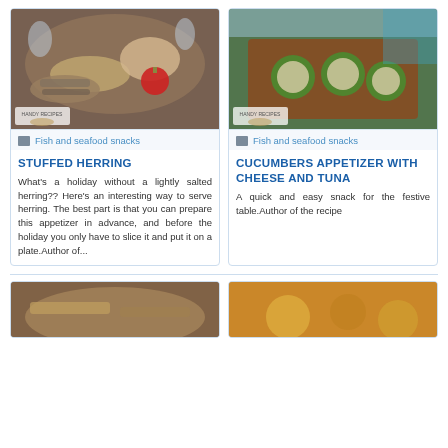[Figure (photo): Food photo showing stuffed herring appetizers on a table with a red Christmas ornament and wine glasses]
Fish and seafood snacks
STUFFED HERRING
What's a holiday without a lightly salted herring?? Here's an interesting way to serve herring. The best part is that you can prepare this appetizer in advance, and before the holiday you only have to slice it and put it on a plate.Author of...
[Figure (photo): Food photo showing cucumbers filled with tuna and cheese appetizers arranged in a wooden tray]
Fish and seafood snacks
CUCUMBERS APPETIZER WITH CHEESE AND TUNA
A quick and easy snack for the festive table.Author of the recipe
[Figure (photo): Bottom left food photo, partially visible]
[Figure (photo): Bottom right food photo, partially visible]